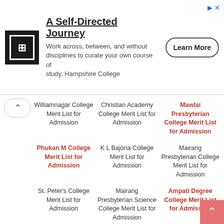[Figure (other): Advertisement banner for Hampshire College: A Self-Directed Journey. Shows logo, description text, and Learn More button.]
Williamnagar College Merit List for Admission
Christian Academy College Merit List for Admission
Mawlai Presbyterian College Merit List for Admission
Phukan M College Merit List for Admission
K L Bajoria College Merit List for Admission
Mairang Presbyterian College Merit List for Admission
St. Peter's College Merit List for Admission
Mairang Presbyterian Science College Merit List for Admission
Ampati Degree College Merit List for Admission
Khrawsing Christian College Merit List for
Sowlyngdoh College Merit List for Admission
Nongrum College Merit List for Admission